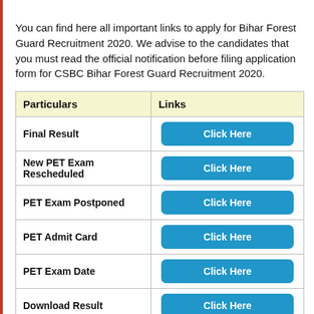You can find here all important links to apply for Bihar Forest Guard Recruitment 2020. We advise to the candidates that you must read the official notification before filing application form for CSBC Bihar Forest Guard Recruitment 2020.
| Particulars | Links |
| --- | --- |
| Final Result | Click Here |
| New PET Exam Rescheduled | Click Here |
| PET Exam Postponed | Click Here |
| PET Admit Card | Click Here |
| PET Exam Date | Click Here |
| Download Result | Click Here |
| Download Admit Card | Click Here |